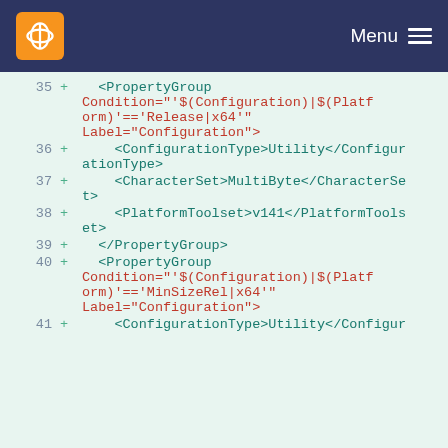Menu
35 + <PropertyGroup Condition="'$(Configuration)|$(Platform)'=='Release|x64'" Label="Configuration">
36 + <ConfigurationType>Utility</ConfigurationType>
37 + <CharacterSet>MultiByte</CharacterSet>
38 + <PlatformToolset>v141</PlatformToolset>
39 + </PropertyGroup>
40 + <PropertyGroup Condition="'$(Configuration)|$(Platform)'=='MinSizeRel|x64'" Label="Configuration">
41 + <ConfigurationType>Utility</Configur